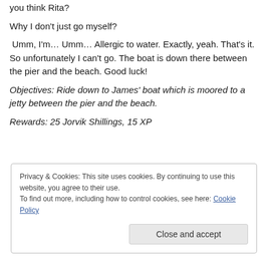you think Rita?
Why I don't just go myself?
Umm, I'm… Umm… Allergic to water. Exactly, yeah. That's it. So unfortunately I can't go. The boat is down there between the pier and the beach. Good luck!
Objectives: Ride down to James' boat which is moored to a jetty between the pier and the beach.
Rewards: 25 Jorvik Shillings, 15 XP
Privacy & Cookies: This site uses cookies. By continuing to use this website, you agree to their use. To find out more, including how to control cookies, see here: Cookie Policy